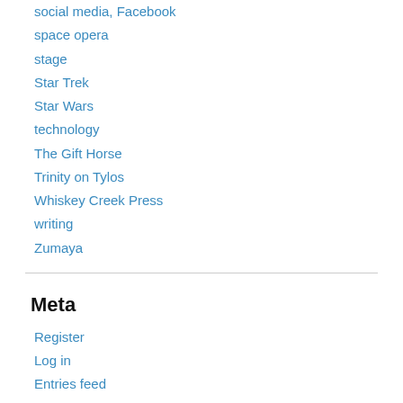social media, Facebook
space opera
stage
Star Trek
Star Wars
technology
The Gift Horse
Trinity on Tylos
Whiskey Creek Press
writing
Zumaya
Meta
Register
Log in
Entries feed
Comments feed
WordPress.com